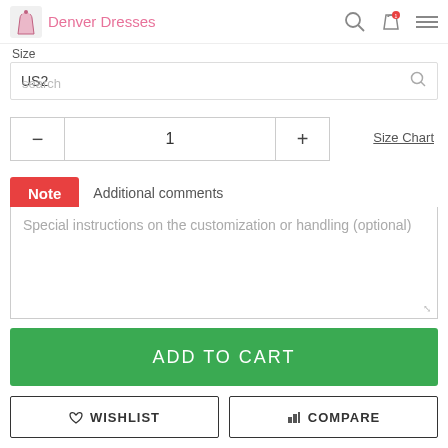Denver Dresses
Size
US2
- 1 +
Size Chart
Note  Additional comments
Special instructions on the customization or handling (optional)
ADD TO CART
WISHLIST
COMPARE
Secured and trusted checkout with